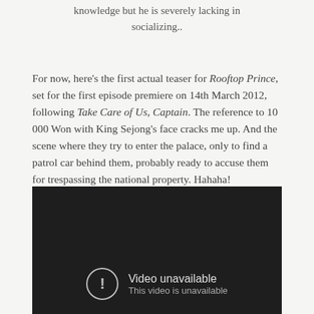knowledge but he is severely lacking in socializing..
For now, here's the first actual teaser for Rooftop Prince, set for the first episode premiere on 14th March 2012, following Take Care of Us, Captain. The reference to 10 000 Won with King Sejong's face cracks me up. And the scene where they try to enter the palace, only to find a patrol car behind them, probably ready to accuse them for trespassing the national property. Hahaha!
[Figure (screenshot): Embedded video player showing 'Video unavailable' error message with an exclamation mark icon. Text reads: 'Video unavailable' and 'This video is unavailable' on a dark background.]